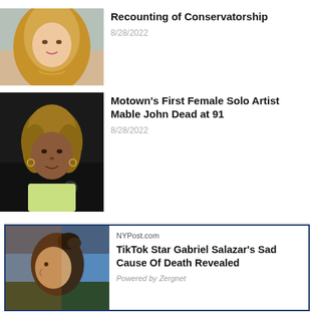[Figure (photo): Woman with long blonde hair, selfie style photo outdoors]
Recounting of Conservatorship
8/28/2022
[Figure (photo): Elderly Black woman with short brown hair, hoop earrings, light yellow top, dark background]
Motown's First Female Solo Artist Mable John Dead at 91
8/28/2022
[Figure (photo): Young man with dark hair bun, looking sideways, orange light, blue sky background]
NYPost.com
TikTok Star Gabriel Salazar's Sad Cause Of Death Revealed
Powered by Zergnet